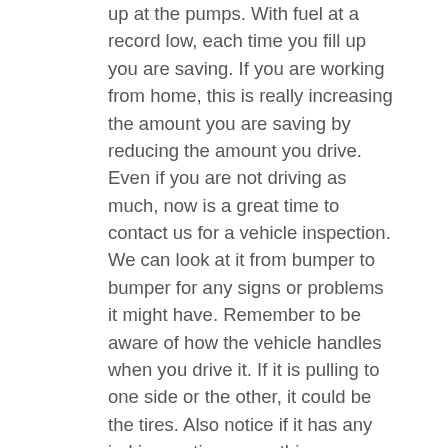up at the pumps. With fuel at a record low, each time you fill up you are saving. If you are working from home, this is really increasing the amount you are saving by reducing the amount you drive. Even if you are not driving as much, now is a great time to contact us for a vehicle inspection. We can look at it from bumper to bumper for any signs or problems it might have. Remember to be aware of how the vehicle handles when you drive it. If it is pulling to one side or the other, it could be the tires. Also notice if it has any jerking motion or anything abnormal. If it does, remember to contact us.
Saving time and Money
Always remember to take the time and check the tires of the vehicle. They should be properly inflated so they are able to provide a smooth ride. If the tires are over inflated, they could pick up sharp objects on the road. When tires are under inflated, they are more likely to blow out. An under inflated tire can